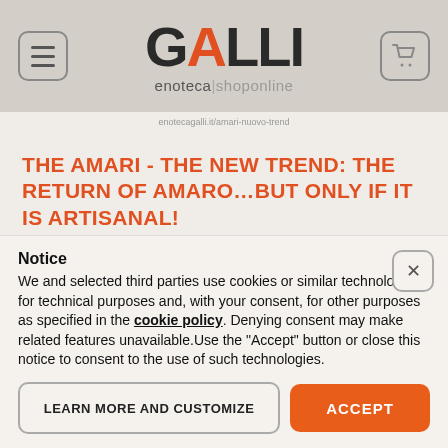[Figure (logo): GALLI enoteca|shoponline logo with menu icon and cart icon on beige/tan header background]
THE AMARI - THE NEW TREND: THE RETURN OF AMARO...BUT ONLY IF IT IS ARTISANAL!
It has always been part of the Italian tradition to
Notice
We and selected third parties use cookies or similar technologies for technical purposes and, with your consent, for other purposes as specified in the cookie policy. Denying consent may make related features unavailable.Use the "Accept" button or close this notice to consent to the use of such technologies.
LEARN MORE AND CUSTOMIZE
ACCEPT